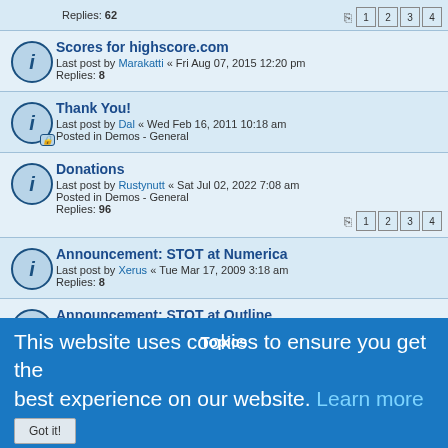Replies: 62 | Pages: 1 2 3 4
Scores for highscore.com
Last post by Marakatti « Fri Aug 07, 2015 12:20 pm
Replies: 8
Thank You!
Last post by Dal « Wed Feb 16, 2011 10:18 am
Posted in Demos - General
Donations
Last post by Rustynutt « Sat Jul 02, 2022 7:08 am
Posted in Demos - General
Replies: 96 | Pages: 1 2 3 4
Announcement: STOT at Numerica
Last post by Xerus « Tue Mar 17, 2009 3:18 am
Replies: 8
Announcement: STOT at Outline
Last post by ThorN « Sun May 24, 2009 8:36 pm
Replies: 4
This website uses cookies to ensure you get the best experience on our website. Learn more
STOT Classics - Season #1 Games List
Last post by simonsunnyboy « Sat Mar 17, 2012 11:01 am
Replies: 7
How long should a round last long?
Last post by ThorN « Sun Oct 16, 2011 1:39 pm
STOT at Facebook
Last post by ThorN « Thu Sep 15, 2011 9:50 pm